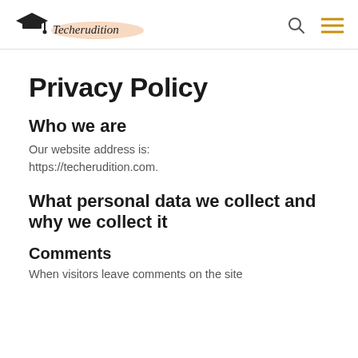Techerudition
Privacy Policy
Who we are
Our website address is: https://techerudition.com.
What personal data we collect and why we collect it
Comments
When visitors leave comments on the site